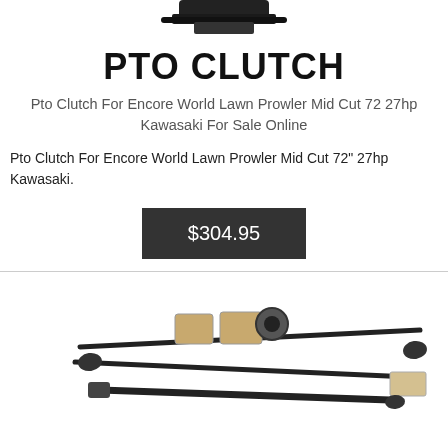[Figure (photo): Partial view of a PTO clutch component shown at top of page]
PTO CLUTCH
Pto Clutch For Encore World Lawn Prowler Mid Cut 72 27hp Kawasaki For Sale Online
Pto Clutch For Encore World Lawn Prowler Mid Cut 72" 27hp Kawasaki.
$304.95
[Figure (photo): Steering/driveshaft components kit with rods, joints, and hardware parts shown in lower section]